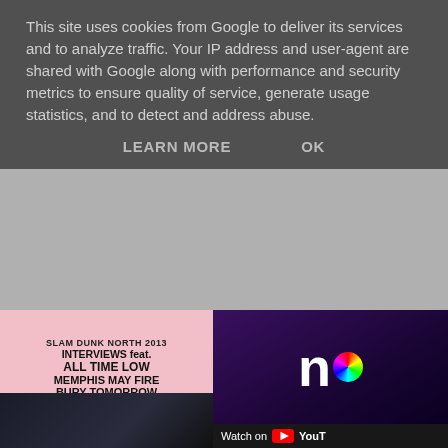This site uses cookies from Google to deliver its services and to analyze traffic. Your IP address and user-agent are shared with Google along with performance and security metrics to ensure quality of service, generate usage statistics, and to detect and address abuse.
LEARN MORE    OK
[Figure (illustration): Slam Dunk North 2013 Interviews featuring All Time Low, Memphis May Fire, Bury Tomorrow, William Beckett & more... Pink event poster/thumbnail]
[Figure (screenshot): YouTube video thumbnail showing 'n' logo with rainbow dot and Watch on YouTube bar]
[Figure (illustration): Hit The Deck - The Review logo/graphic with green decorative text and black subtitle]
You wouldn't be Ballzy if
Yeah. The Queen would lik
You're headlining it- is it
Yeah, it totally is y'know, coming so soon, I just feel nice build up.
[Figure (photo): Dark concert/band photo at bottom left]